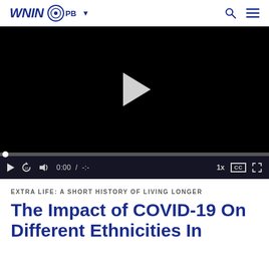WNIN PBS
[Figure (screenshot): Video player with black background showing a white play button in the center, a progress bar with a white dot at the start, and a controls bar with play, replay-10, volume, time display (0:00 / -:-), speed (1x), CC button, and fullscreen button.]
EXTRA LIFE: A SHORT HISTORY OF LIVING LONGER
The Impact of COVID-19 On Different Ethnicities In America